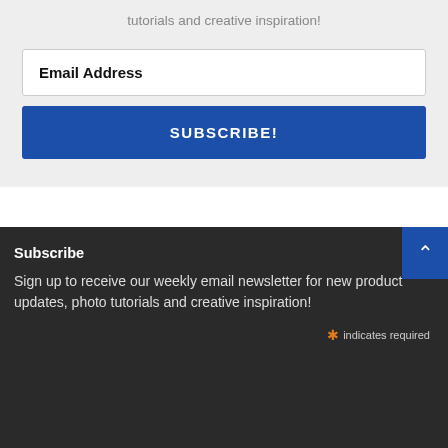tutorials and creative inspiration!
Email Address
SUBSCRIBE!
Subscribe
Sign up to receive our weekly email newsletter for new product updates, photo tutorials and creative inspiration!
* indicates required